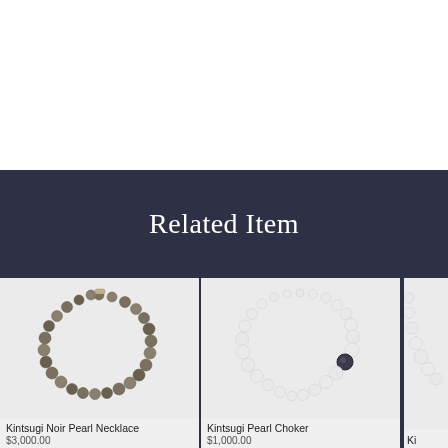Related Item
[Figure (photo): Dark/black pearl necklace arranged in oval shape on light gray background - Kintsugi Noir Pearl Necklace]
Kintsugi Noir Pearl Necklace
$3,000.00
[Figure (photo): White pearl choker with dark gemstone accent on light gray background - Kintsugi Pearl Choker]
Kintsugi Pearl Choker
$1,000.00
[Figure (photo): Partially visible third pearl necklace product - Kintsugi (name cut off)]